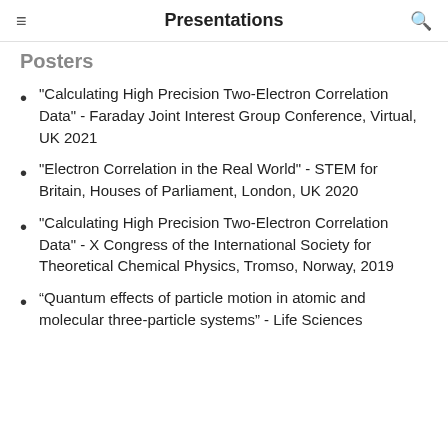Presentations
Posters
"Calculating High Precision Two-Electron Correlation Data" - Faraday Joint Interest Group Conference, Virtual, UK 2021
"Electron Correlation in the Real World" - STEM for Britain, Houses of Parliament, London, UK 2020
"Calculating High Precision Two-Electron Correlation Data" - X Congress of the International Society for Theoretical Chemical Physics, Tromso, Norway, 2019
“Quantum effects of particle motion in atomic and molecular three-particle systems” - Life Sciences